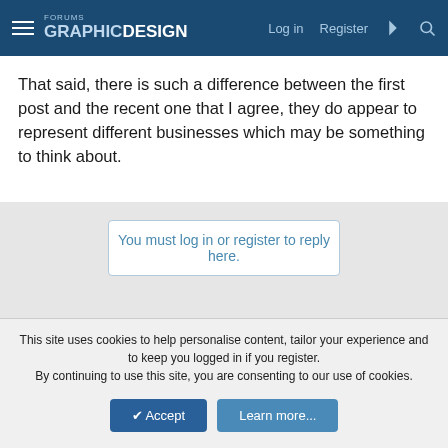GRAPHICDESIGN FORUMS — Log in  Register
That said, there is such a difference between the first post and the recent one that I agree, they do appear to represent different businesses which may be something to think about.
You must log in or register to reply here.
Share:
Graphic Design & Logo Design Critique:
Contact us  Terms and rules  Privacy policy  Help
Community platform by XenForo® © 2010-2022 XenForo Ltd.
This site uses cookies to help personalise content, tailor your experience and to keep you logged in if you register.
By continuing to use this site, you are consenting to our use of cookies.
✔ Accept   Learn more...